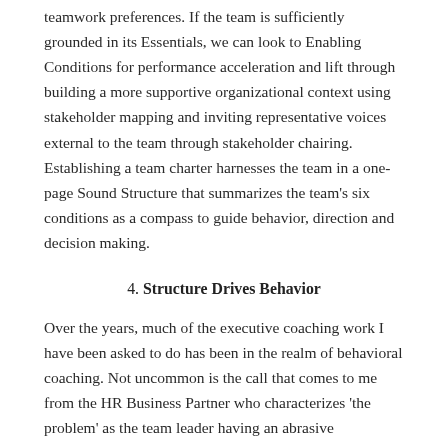teamwork preferences. If the team is sufficiently grounded in its Essentials, we can look to Enabling Conditions for performance acceleration and lift through building a more supportive organizational context using stakeholder mapping and inviting representative voices external to the team through stakeholder chairing. Establishing a team charter harnesses the team in a one-page Sound Structure that summarizes the team's six conditions as a compass to guide behavior, direction and decision making.
4. Structure Drives Behavior
Over the years, much of the executive coaching work I have been asked to do has been in the realm of behavioral coaching.  Not uncommon is the call that comes to me from the HR Business Partner who characterizes 'the problem' as the team leader having an abrasive